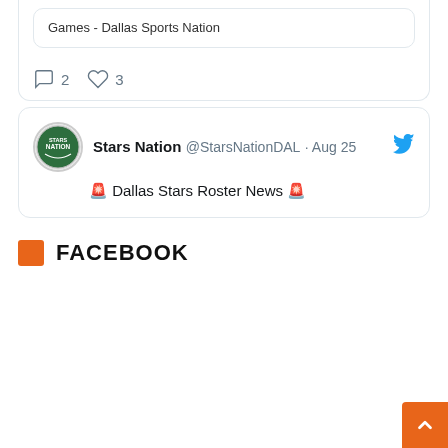Games - Dallas Sports Nation
2   3
Stars Nation @StarsNationDAL · Aug 25
🚨 Dallas Stars Roster News 🚨
FACEBOOK